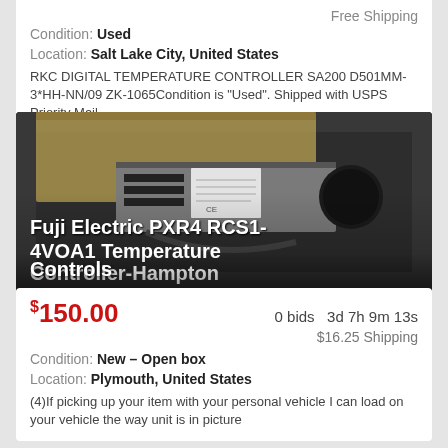Free Shipping
Condition: Used
Location: Salt Lake City, United States
RKC DIGITAL TEMPERATURE CONTROLLER SA200 D501MM-3*HH-NN/09 ZK-1065Condition is "Used". Shipped with USPS Priority Mail.
[Figure (photo): Fuji Electric PXR4 RCS1-4VOA1 Temperature Controller device in a box, dark metallic background]
$150.00  0 bids  3d 7h 9m 13s  $16.25 Shipping
Condition: New – Open box
Location: Plymouth, United States
(4)If picking up your item with your personal vehicle I can load on your vehicle the way unit is in picture